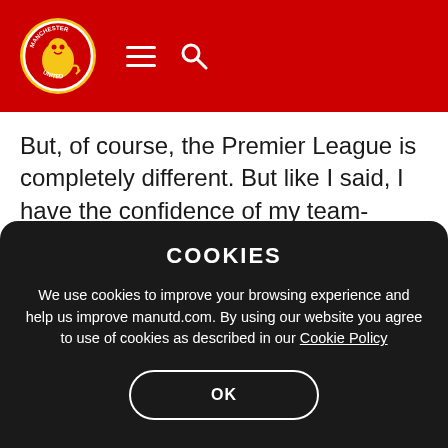Manchester United - Navigation header with logo, hamburger menu, and search icon
But, of course, the Premier League is completely different. But like I said, I have the confidence of my team-mates and the coach and the staff from the club.
“I think things are going really well because when
COOKIES
We use cookies to improve your browsing experience and help us improve manutd.com. By using our website you agree to use of cookies as described in our Cookie Policy
OK